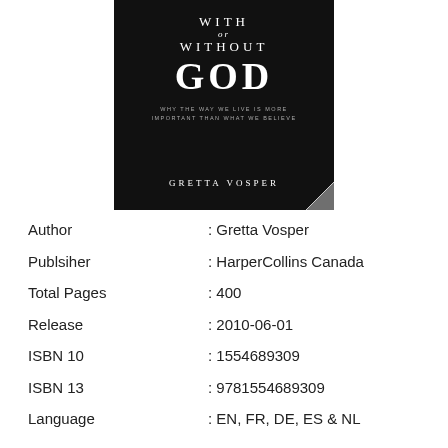[Figure (illustration): Book cover for 'With or Without God' by Gretta Vosper, published by HarperCollins Canada. Black background with white serif text showing title 'WITH or WITHOUT GOD' with subtitle 'Why the way we live is more important than what we believe' and author name 'GRETTA VOSPER'. A page curl effect appears in the bottom right corner.]
| Author | : Gretta Vosper |
| Publsiher | : HarperCollins Canada |
| Total Pages | : 400 |
| Release | : 2010-06-01 |
| ISBN 10 | : 1554689309 |
| ISBN 13 | : 9781554689309 |
| Language | : EN, FR, DE, ES & NL |